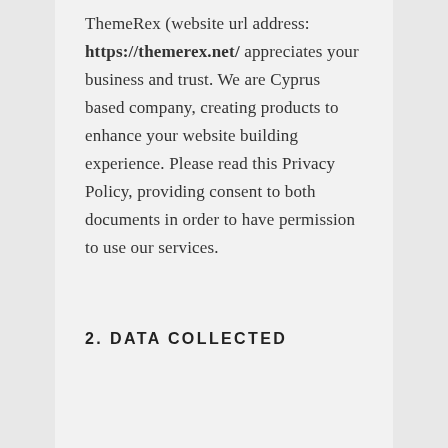ThemeRex (website url address: https://themerex.net/ appreciates your business and trust. We are Cyprus based company, creating products to enhance your website building experience. Please read this Privacy Policy, providing consent to both documents in order to have permission to use our services.
2. DATA COLLECTED